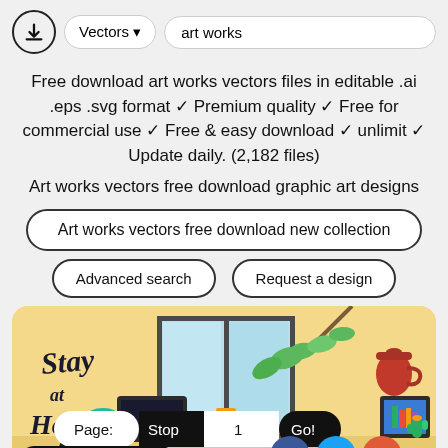Vectors ▼  art works
Free download art works vectors files in editable .ai .eps .svg format ✓ Premium quality ✓ Free for commercial use ✓ Free & easy download ✓ unlimit ✓ Update daily. (2,182 files)
Art works vectors free download graphic art designs
Art works vectors free download new collection
Advanced search   Request a design
[Figure (illustration): Stay at Home illustration showing a home office scene with a window, plants, books, cactus, monitor, and decorative items. Page navigation bar with Stop/Go buttons, Advance Search button, and social media icons (Facebook, Twitter, plus).]